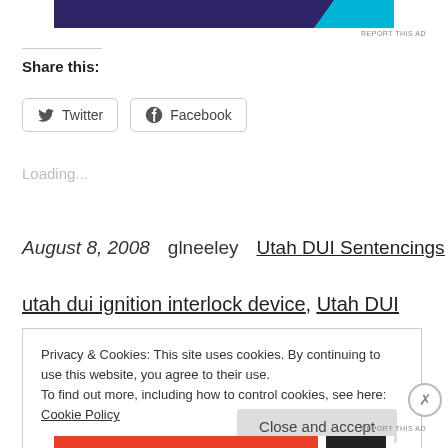[Figure (other): Dark purple and cyan advertisement banner at top of page]
REPORT THIS AD
Share this:
Twitter  Facebook
Loading...
August 8, 2008   glneeley   Utah DUI Sentencings
utah dui ignition interlock device, Utah DUI
Privacy & Cookies: This site uses cookies. By continuing to use this website, you agree to their use.
To find out more, including how to control cookies, see here: Cookie Policy
Close and accept
REPORT THIS AD